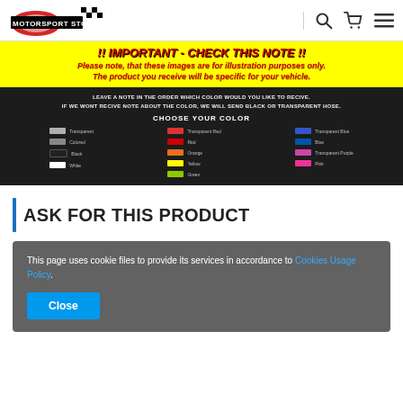MOTORSPORT STORE
[Figure (infographic): Important notice banner with yellow background and red italic text: '!! IMPORTANT - CHECK THIS NOTE !!' and 'Please note, that these images are for illustration purposes only. The product you receive will be specific for your vehicle.' Below is a dark black panel with color swatches labeled CHOOSE YOUR COLOR showing transparent, colored, black, white, red, orange, yellow, green, blue, pink, and purple hose color options.]
ASK FOR THIS PRODUCT
This page uses cookie files to provide its services in accordance to Cookies Usage Policy.
Close